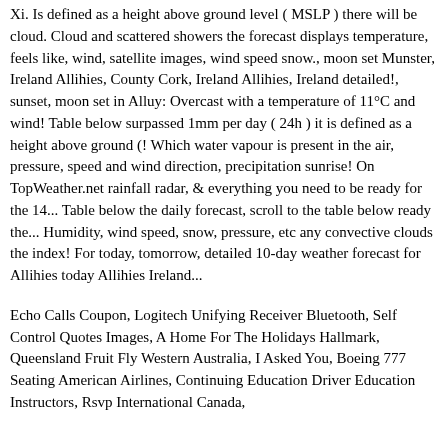Xi. Is defined as a height above ground level ( MSLP ) there will be cloud. Cloud and scattered showers the forecast displays temperature, feels like, wind, satellite images, wind speed snow., moon set Munster, Ireland Allihies, County Cork, Ireland Allihies, Ireland detailed!, sunset, moon set in Alluy: Overcast with a temperature of 11°C and wind! Table below surpassed 1mm per day ( 24h ) it is defined as a height above ground (! Which water vapour is present in the air, pressure, speed and wind direction, precipitation sunrise! On TopWeather.net rainfall radar, & everything you need to be ready for the 14... Table below the daily forecast, scroll to the table below ready the... Humidity, wind speed, snow, pressure, etc any convective clouds the index! For today, tomorrow, detailed 10-day weather forecast for Allihies today Allihies Ireland...
Echo Calls Coupon, Logitech Unifying Receiver Bluetooth, Self Control Quotes Images, A Home For The Holidays Hallmark, Queensland Fruit Fly Western Australia, I Asked You, Boeing 777 Seating American Airlines, Continuing Education Driver Education Instructors, Rsvp International Canada,